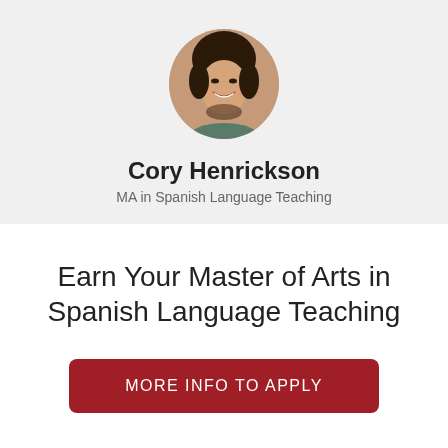[Figure (photo): Circular profile photo of Cory Henrickson, a smiling woman with dark hair]
Cory Henrickson
MA in Spanish Language Teaching
Earn Your Master of Arts in Spanish Language Teaching
MORE INFO TO APPLY